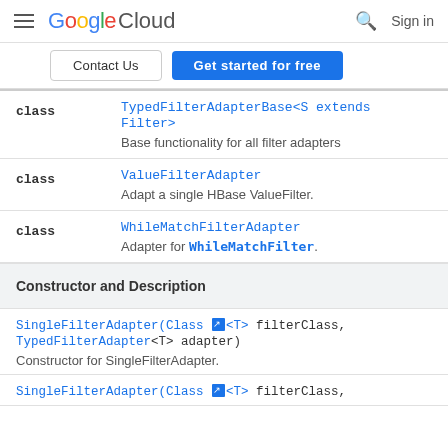Google Cloud | Search | Sign in
Contact Us | Get started for free
|  |  |
| --- | --- |
| class | TypedFilterAdapterBase<S extends Filter>
Base functionality for all filter adapters |
| class | ValueFilterAdapter
Adapt a single HBase ValueFilter. |
| class | WhileMatchFilterAdapter
Adapter for WhileMatchFilter. |
Constructor and Description
SingleFilterAdapter(Class <T> filterClass, TypedFilterAdapter<T> adapter)
Constructor for SingleFilterAdapter.
SingleFilterAdapter(Class <T> filterClass,